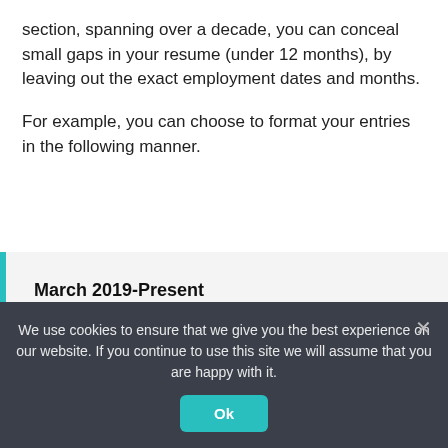section, spanning over a decade, you can conceal small gaps in your resume (under 12 months), by leaving out the exact employment dates and months.
For example, you can choose to format your entries in the following manner.
March 2019-Present
Senior Product Manager at Company X
We use cookies to ensure that we give you the best experience on our website. If you continue to use this site we will assume that you are happy with it.